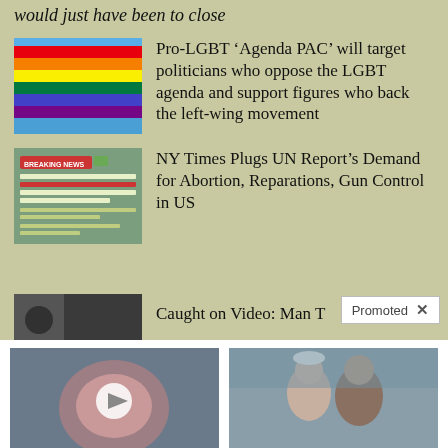would just have been to close
[Figure (photo): Rainbow pride flag against blue sky]
Pro-LGBT ‘Agenda PAC’ will target politicians who oppose the LGBT agenda and support figures who back the left-wing movement
[Figure (screenshot): Breaking News thumbnail about UN Committee on the Elimination of Racial Discrimination report]
NY Times Plugs UN Report’s Demand for Abortion, Reparations, Gun Control in US
[Figure (photo): Dark partial thumbnail - Caught on Video: Man T...]
Caught on Video: Man T
Promoted
[Figure (photo): Medical illustration of prostate with video play button]
Urologist: Plenty Of Men With An Enlarged Prostate Do Not Know About This Simple Solution
5,620
[Figure (photo): Older couple smiling outdoors wearing winter gear]
7 Retirement Income Strategies Once Your Portfolio Reaches $500,000 [Free Guide]
701